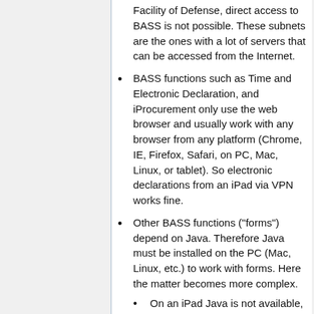Facility of Defense, direct access to BASS is not possible. These subnets are the ones with a lot of servers that can be accessed from the Internet.
BASS functions such as Time and Electronic Declaration, and iProcurement only use the web browser and usually work with any browser from any platform (Chrome, IE, Firefox, Safari, on PC, Mac, Linux, or tablet). So electronic declarations from an iPad via VPN works fine.
Other BASS functions ("forms") depend on Java. Therefore Java must be installed on the PC (Mac, Linux, etc.) to work with forms. Here the matter becomes more complex.
On an iPad Java is not available, so in principle iPads cannot be used to work with forms.